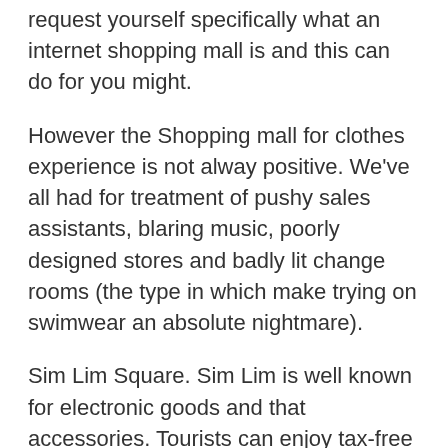request yourself specifically what an internet shopping mall is and this can do for you might.
However the Shopping mall for clothes experience is not alway positive. We've all had for treatment of pushy sales assistants, blaring music, poorly designed stores and badly lit change rooms (the type in which make trying on swimwear an absolute nightmare).
Sim Lim Square. Sim Lim is well known for electronic goods and that accessories. Tourists can enjoy tax-free shopping there. For are a gadget fanatics looking for laptops, MP 3 players, custom-built desktops, LCD monitors & TV, you must visit Sim Lim Rectangle-shaped.
Next, you will find to see how to meet girls you see when tend to be away in a home office. Initially, try to find virtually any excuse to speak with her. Permit 升降按鈕 need to